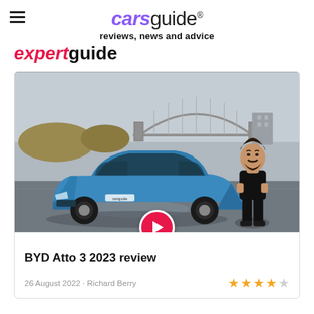carsguide reviews, news and advice
expertguide
[Figure (photo): BYD Atto 3 electric SUV in blue parked on wet pavement with a man standing beside it, Sydney Harbour Bridge visible in the background. A red play button overlay is shown at the bottom centre of the image.]
BYD Atto 3 2023 review
26 August 2022 · Richard Berry ★★★★☆